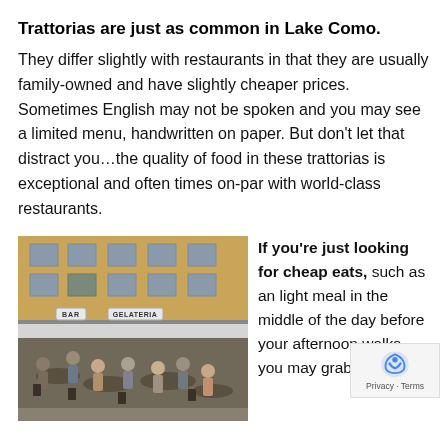Trattorias are just as common in Lake Como.
They differ slightly with restaurants in that they are usually family-owned and have slightly cheaper prices. Sometimes English may not be spoken and you may see a limited menu, handwritten on paper. But don’t let that distract you…the quality of food in these trattorias is exceptional and often times on-par with world-class restaurants.
[Figure (photo): Outdoor cafe/trattoria in Lake Como with people sitting at tables under an awning. Signs reading BAR and GELATERIA visible. Building facade in background.]
If you’re just looking for cheap eats, such as an light meal in the middle of the day before your afternoon walks, you may grab a